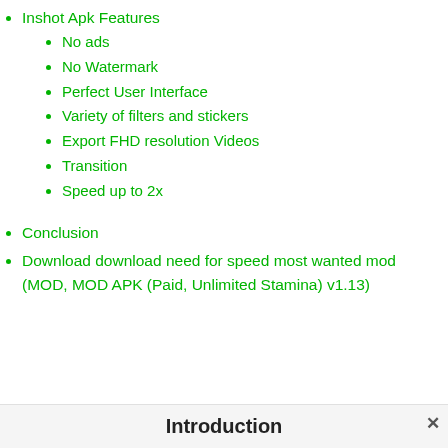Inshot Apk Features
No ads
No Watermark
Perfect User Interface
Variety of filters and stickers
Export FHD resolution Videos
Transition
Speed up to 2x
Conclusion
Download download need for speed most wanted mod (MOD, MOD APK (Paid, Unlimited Stamina) v1.13)
Introduction